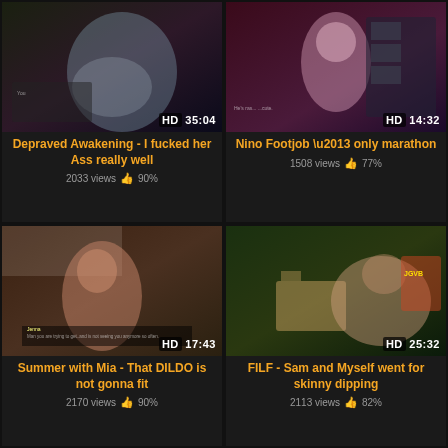[Figure (screenshot): Video thumbnail 1: HD 35:04 - Depraved Awakening game scene]
Depraved Awakening - I fucked her Ass really well
2033 views 👍 90%
[Figure (screenshot): Video thumbnail 2: HD 14:32 - Nino Footjob anime scene]
Nino Footjob \u2013 only marathon
1508 views 👍 77%
[Figure (screenshot): Video thumbnail 3: HD 17:43 - Summer with Mia game scene]
Summer with Mia - That DILDO is not gonna fit
2170 views 👍 90%
[Figure (screenshot): Video thumbnail 4: HD 25:32 - FILF Sam scene outdoors]
FILF - Sam and Myself went for skinny dipping
2113 views 👍 82%